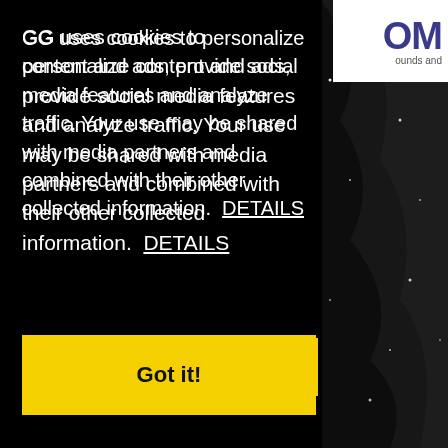[Figure (screenshot): Website screenshot showing a cookie consent banner overlay on a dark background page. The banner has white text on black background explaining GG uses cookies. Below is a yellow 'Got it!' button. The background shows a dark sparkly image with Italian italic text 'cinematografica, o a chiunque altro...' and pink butterflies. Top right corner has a logo with 'OM' in dark blue.]
GG uses cookies to personalize content and ads, provide social media features and analyze traffic. Your use may be shared with media partners and combined with their other collected information.  DETAILS
Got it!
cinematografica, o a chiunque altro...